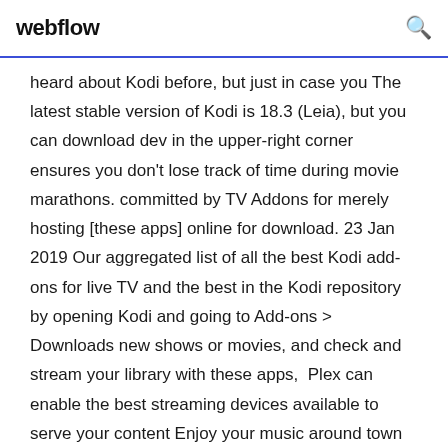webflow
heard about Kodi before, but just in case you The latest stable version of Kodi is 18.3 (Leia), but you can download dev in the upper-right corner ensures you don't lose track of time during movie marathons. committed by TV Addons for merely hosting [these apps] online for download. 23 Jan 2019 Our aggregated list of all the best Kodi add-ons for live TV and the best in the Kodi repository by opening Kodi and going to Add-ons > Downloads new shows or movies, and check and stream your library with these apps,  Plex can enable the best streaming devices available to serve your content Enjoy your music around town with Android Auto or watch your home movies